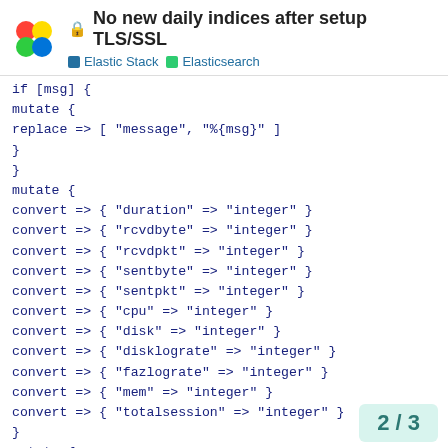No new daily indices after setup TLS/SSL — Elastic Stack — Elasticsearch
if [msg] {
mutate {
replace => [ "message", "%{msg}" ]
}
}
mutate {
convert => { "duration" => "integer" }
convert => { "rcvdbyte" => "integer" }
convert => { "rcvdpkt" => "integer" }
convert => { "sentbyte" => "integer" }
convert => { "sentpkt" => "integer" }
convert => { "cpu" => "integer" }
convert => { "disk" => "integer" }
convert => { "disklograte" => "integer" }
convert => { "fazlograte" => "integer" }
convert => { "mem" => "integer" }
convert => { "totalsession" => "integer" }
}
mutate {